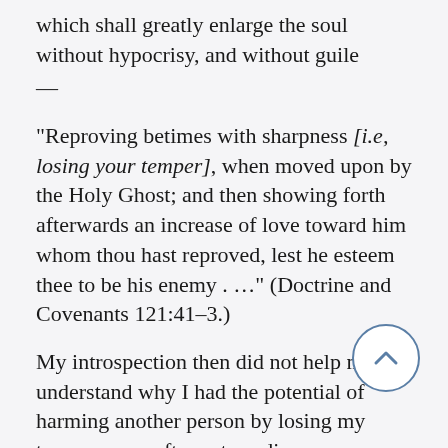which shall greatly enlarge the soul without hypocrisy, and without guile
—
"Reproving betimes with sharpness [i.e, losing your temper], when moved upon by the Holy Ghost; and then showing forth afterwards an increase of love toward him whom thou hast reproved, lest he esteem thee to be his enemy . ..." (Doctrine and Covenants 121:41–3.)
My introspection then did not help me understand why I had the potential of harming another person by losing my temper, even after extraordinary transfiguration.  Bu with the knowledge I received on June